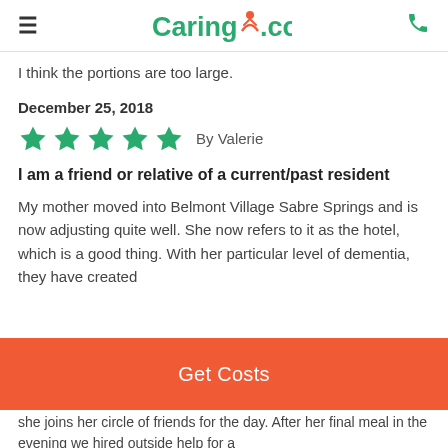Caring.com
I think the portions are too large.
December 25, 2018
★★★★★ By Valerie
I am a friend or relative of a current/past resident
My mother moved into Belmont Village Sabre Springs and is now adjusting quite well. She now refers to it as the hotel, which is a good thing. With her particular level of dementia, they have created
Get Costs
she joins her circle of friends for the day. After her final meal in the evening we hired outside help for a